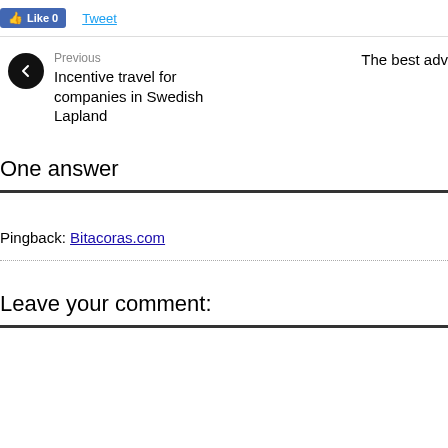[Figure (screenshot): Facebook Like button showing 'Like 0' in blue]
Tweet
Previous
Incentive travel for companies in Swedish Lapland
The best adv...
One answer
Pingback: Bitacoras.com
Leave your comment: